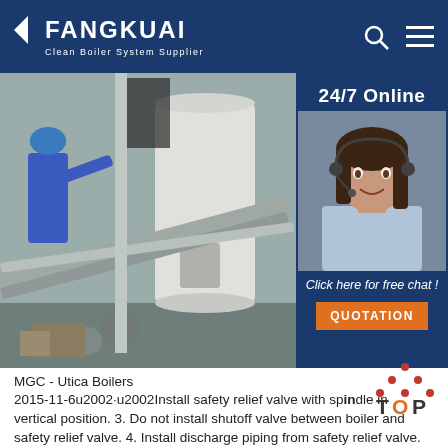FANGKUAI - Clean Boiler System Supplier
[Figure (photo): Industrial boiler room with large white cylindrical boilers, pipes, and a worker in blue uniform and hard hat. Overlay panel on right shows 24/7 Online chat service with photo of female customer service representative wearing headset, 'Click here for free chat!' text, and orange QUOTATION button.]
MGC - Utica Boilers
2015-11-6u2002·u2002Install safety relief valve with spindle in vertical position. 3. Do not install shutoff valve between boiler and safety relief valve. 4. Install discharge piping from safety relief valve. See Figure 3 ... Use 3/4 or larger pipe ... Use pipe suitable for ...